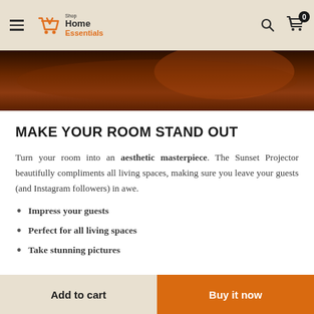[Figure (logo): Shop Home Essentials logo with orange shopping cart icon and text]
[Figure (photo): Dark amber/orange toned room photo strip, partial view]
MAKE YOUR ROOM STAND OUT
Turn your room into an aesthetic masterpiece. The Sunset Projector beautifully compliments all living spaces, making sure you leave your guests (and Instagram followers) in awe.
Impress your guests
Perfect for all living spaces
Take stunning pictures
Add to cart
Buy it now